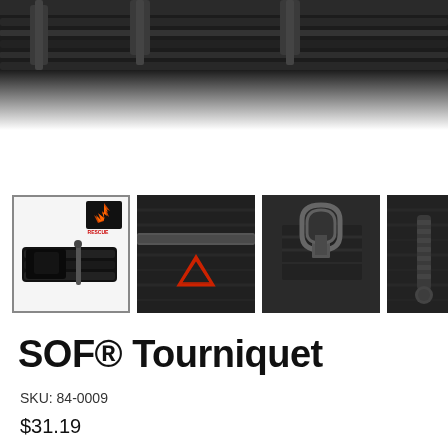[Figure (photo): Top portion of a black tactical tourniquet/medical equipment shown from above, with nylon webbing and metal hardware visible against white background]
[Figure (photo): Row of four product thumbnail images of SOF Tourniquet: (1) full product view with brand logo, (2) close-up of red triangle logo embroidered on black nylon strap with metal rod, (3) close-up of metal hook/buckle mechanism on strap, (4) close-up of windlass rod tip on nylon webbing]
SOF® Tourniquet
SKU: 84-0009
$31.19